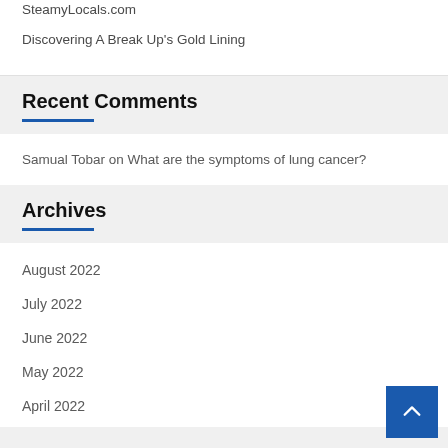SteamyLocals.com
Discovering A Break Up's Gold Lining
Recent Comments
Samual Tobar on What are the symptoms of lung cancer?
Archives
August 2022
July 2022
June 2022
May 2022
April 2022